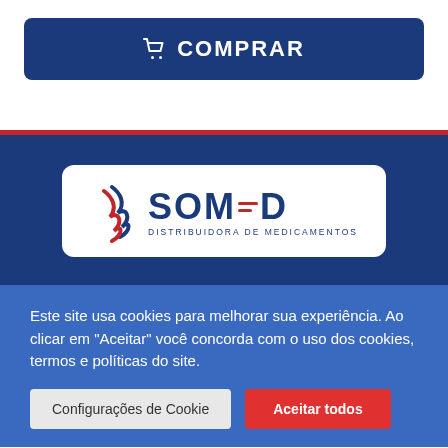[Figure (logo): Blue rounded rectangle button with shopping cart icon and COMPRAR text]
[Figure (logo): SOMED Distribuidora de Medicamentos logo in white rounded rectangle on dark blue background]
Este site usa cookies para melhorar sua experiência. Ao clicar em "Aceitar" você concorda com o uso dos cookies, termos e políticas do site.
Configurações de Cookie
Aceitar todos